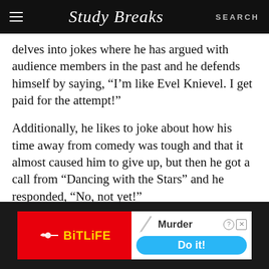Study Breaks — SEARCH
delves into jokes where he has argued with audience members in the past and he defends himself by saying, “I’m like Evel Knievel. I get paid for the attempt!”
Additionally, he likes to joke about how his time away from comedy was tough and that it almost caused him to give up, but then he got a call from “Dancing with the Stars” and he responded, “No, not yet!”
[Figure (screenshot): BitLife advertisement banner: red left panel with BitLife logo and sperm icon in yellow, white right panel with 'Murder' text and blue 'Do it!' button]